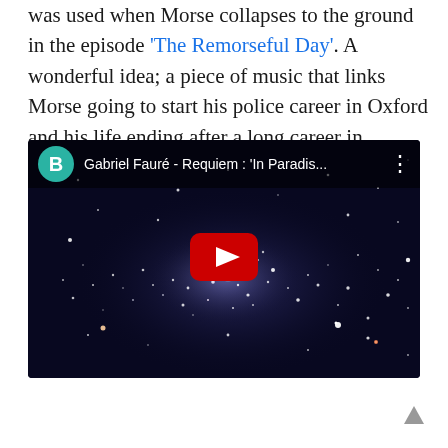was used when Morse collapses to the ground in the episode 'The Remorseful Day'. A wonderful idea; a piece of music that links Morse going to start his police career in Oxford and his life ending after a long career in Oxford.
[Figure (screenshot): YouTube video thumbnail showing a starfield/galaxy image with the video title 'Gabriel Fauré - Requiem : In Paradis...' and a play button overlay. A teal avatar with letter B is shown in the top bar.]